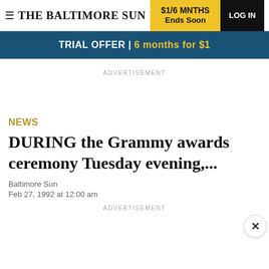THE BALTIMORE SUN
$1/6 MNTHS Ends Soon
LOG IN
TRIAL OFFER | 6 months for $1
ADVERTISEMENT
NEWS
DURING the Grammy awards ceremony Tuesday evening,...
Baltimore Sun
Feb 27, 1992 at 12:00 am
ADVERTISEMENT